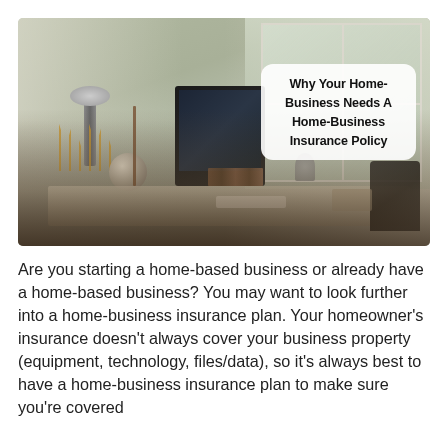[Figure (photo): Home office workspace photo showing a desk with an iMac computer, Bluetooth speaker, decorative zigzag lamp, keyboard, and items on a wooden shelf, with large windows in the background letting in natural light. A white rounded-rectangle text overlay in the upper right reads 'Why Your Home-Business Needs A Home-Business Insurance Policy'.]
Are you starting a home-based business or already have a home-based business? You may want to look further into a home-business insurance plan. Your homeowner's insurance doesn't always cover your business property (equipment, technology, files/data), so it's always best to have a home-business insurance plan to make sure you're covered